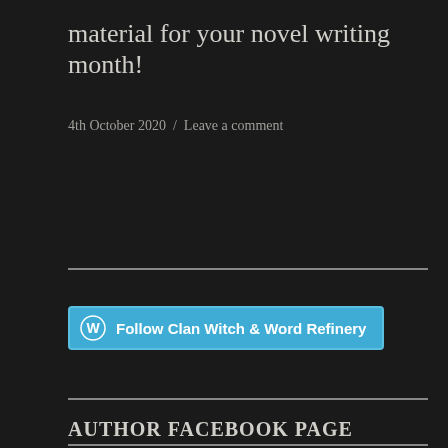material for your novel writing month!
4th October 2020  /  Leave a comment
[Figure (other): WordPress Follow button for 'Clan Witch & Word Refinery']
AUTHOR FACEBOOK PAGE